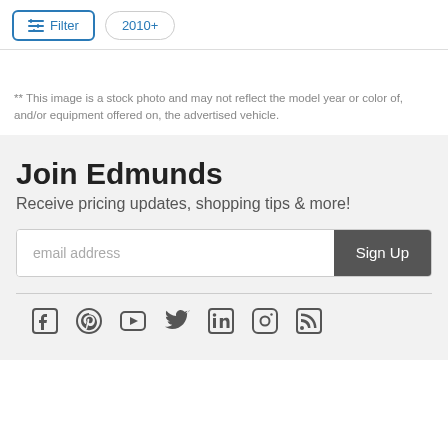[Figure (screenshot): Filter button with sliders icon in blue border, and 2010+ pill button]
** This image is a stock photo and may not reflect the model year or color of, and/or equipment offered on, the advertised vehicle.
Join Edmunds
Receive pricing updates, shopping tips & more!
[Figure (screenshot): Email address input field with Sign Up button]
[Figure (screenshot): Social media icons: Facebook, Pinterest, YouTube, Twitter, LinkedIn, Instagram, RSS]